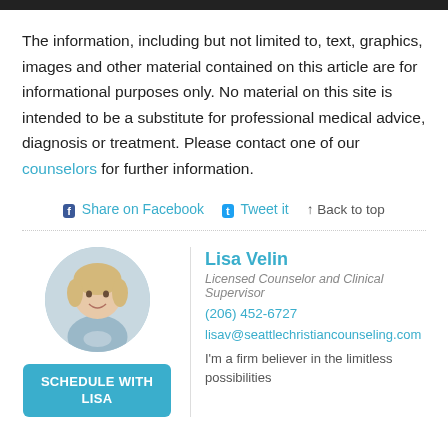The information, including but not limited to, text, graphics, images and other material contained on this article are for informational purposes only. No material on this site is intended to be a substitute for professional medical advice, diagnosis or treatment. Please contact one of our counselors for further information.
Share on Facebook  Tweet it  ↑ Back to top
[Figure (photo): Circular portrait photo of Lisa Velin, a blonde woman smiling]
Lisa Velin
Licensed Counselor and Clinical Supervisor
(206) 452-6727
lisav@seattlechristiancounseling.com
I'm a firm believer in the limitless possibilities